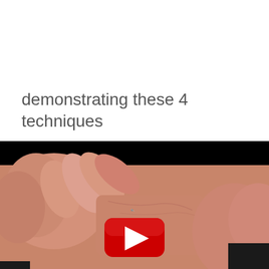demonstrating these 4 techniques
[Figure (photo): Video thumbnail showing close-up of hands performing a medical technique on skin (appears to be a foot/ankle), with a YouTube-style red play button overlay. The video frame has a black letterbox bar at the top.]